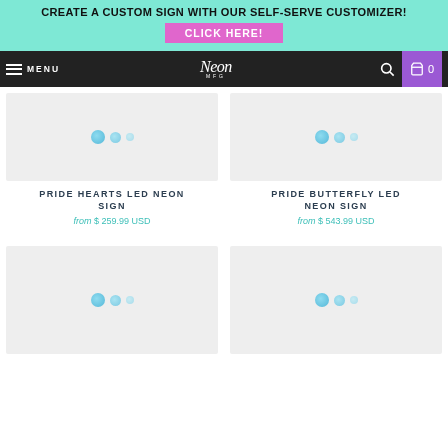CREATE A CUSTOM SIGN WITH OUR SELF-SERVE CUSTOMIZER! CLICK HERE!
MENU | Neon MFG | 0
[Figure (photo): Product image placeholder with loading dots for Pride Hearts LED Neon Sign]
PRIDE HEARTS LED NEON SIGN
from $ 259.99 USD
[Figure (photo): Product image placeholder with loading dots for Pride Butterfly LED Neon Sign]
PRIDE BUTTERFLY LED NEON SIGN
from $ 543.99 USD
[Figure (photo): Product image placeholder with loading dots (bottom left)]
[Figure (photo): Product image placeholder with loading dots (bottom right)]